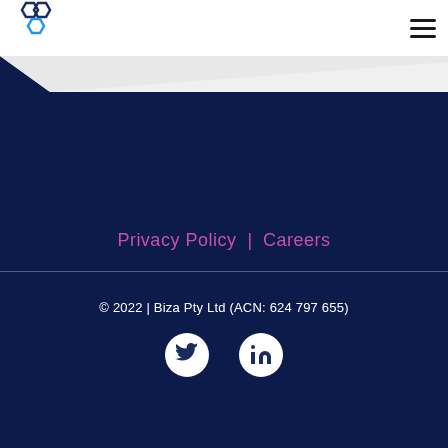[Figure (logo): Biza hexagon logo with dark blue and light blue hexagonal shapes]
[Figure (illustration): Hamburger/navigation menu icon - three horizontal lines]
Privacy Policy | Careers
© 2022 | Biza Pty Ltd (ACN: 624 797 655)
[Figure (illustration): Twitter social media icon (white bird on white circle background)]
[Figure (illustration): LinkedIn social media icon (white 'in' on white circle background)]